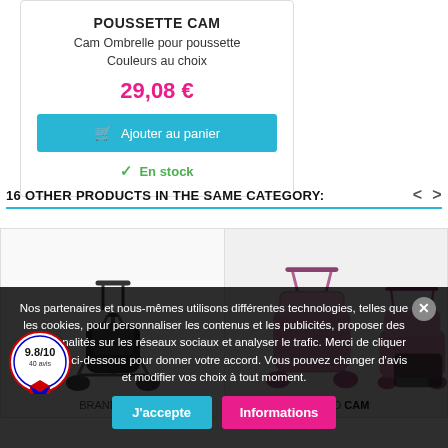POUSSETTE CAM
Cam Ombrelle pour poussette
Couleurs au choix
29,08 €
Ajouter au panier
✓ En stock
16 OTHER PRODUCTS IN THE SAME CATEGORY:
[Figure (photo): Grey/dark stroller product thumbnail]
BRAND CAM
[Figure (photo): Pink stroller product thumbnail - two strollers visible]
BRAND CAM
Nos partenaires et nous-mêmes utilisons différentes technologies, telles que les cookies, pour personnaliser les contenus et les publicités, proposer des fonctionnalités sur les réseaux sociaux et analyser le trafic. Merci de cliquer le bouton ci-dessous pour donner votre accord. Vous pouvez changer d'avis et modifier vos choix à tout moment.
J'accepte
Informations